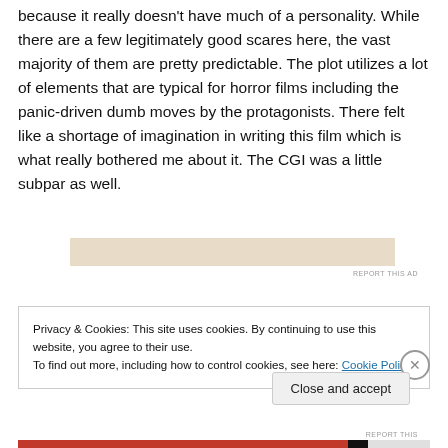because it really doesn't have much of a personality. While there are a few legitimately good scares here, the vast majority of them are pretty predictable. The plot utilizes a lot of elements that are typical for horror films including the panic-driven dumb moves by the protagonists. There felt like a shortage of imagination in writing this film which is what really bothered me about it. The CGI was a little subpar as well.
[Figure (other): Advertisement placeholder block (beige/tan colored rectangle) with 'REPORT THIS AD' text link below]
Privacy & Cookies: This site uses cookies. By continuing to use this website, you agree to their use.
To find out more, including how to control cookies, see here: Cookie Policy
Close and accept